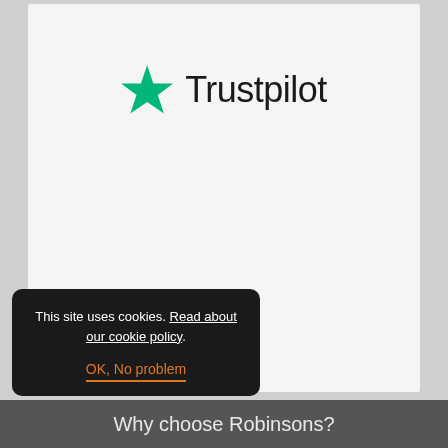[Figure (logo): Trustpilot logo with green star and 'Trustpilot' text in dark color]
This site uses cookies. Read about our cookie policy.
OK, No problem
Why choose Robinsons?